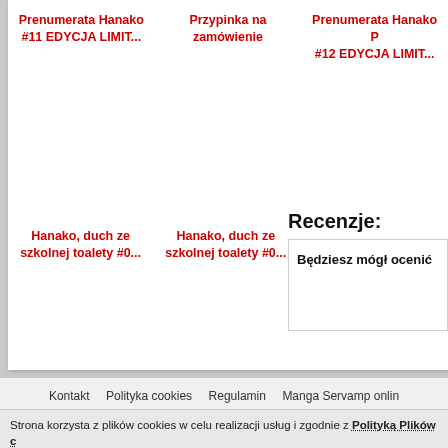Prenumerata Hanako #11 EDYCJA LIMIT...
Przypinka na zamówienie
Prenumerata Hanako P #12 EDYCJA LIMIT...
Hanako, duch ze szkolnej toalety #0...
Hanako, duch ze szkolnej toalety #0...
Recenzje:
Będziesz mógł ocenić
Kontakt   Polityka cookies   Regulamin   Manga Servamp onlin
Strona korzysta z plików cookies w celu realizacji usług i zgodnie z Polityką Plików c